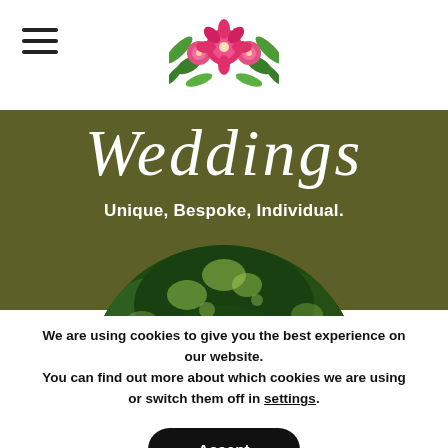[Figure (logo): Pink floral arrangement logo at the top center of the page]
Weddings
Unique, Bespoke, Individual.
[Figure (photo): Circular cropped photo looking up through tree canopy with green foliage]
We are using cookies to give you the best experience on our website.
You can find out more about which cookies we are using or switch them off in settings.
Accept